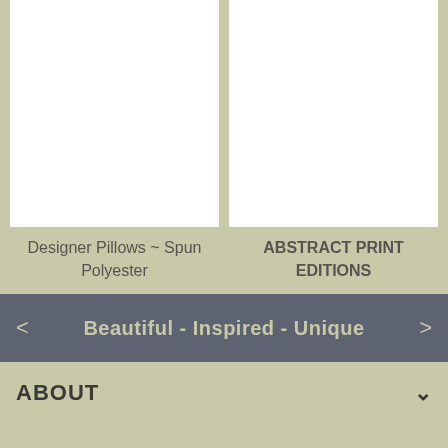[Figure (photo): White blank product image placeholder for Designer Pillows - Spun Polyester]
Designer Pillows ~ Spun Polyester
[Figure (photo): White blank product image placeholder for Abstract Print Editions]
ABSTRACT PRINT EDITIONS
Beautiful - Inspired - Unique
ABOUT